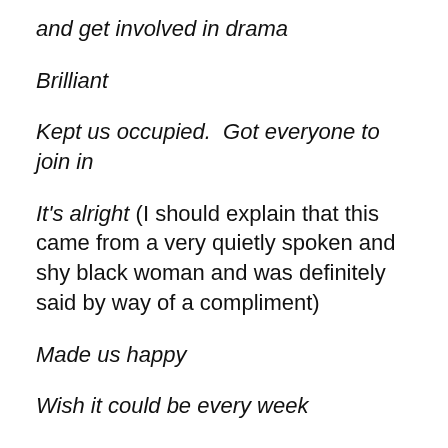and get involved in drama
Brilliant
Kept us occupied.  Got everyone to join in
It's alright (I should explain that this came from a very quietly spoken and shy black woman and was definitely said by way of a compliment)
Made us happy
Wish it could be every week
Are they coming back again?